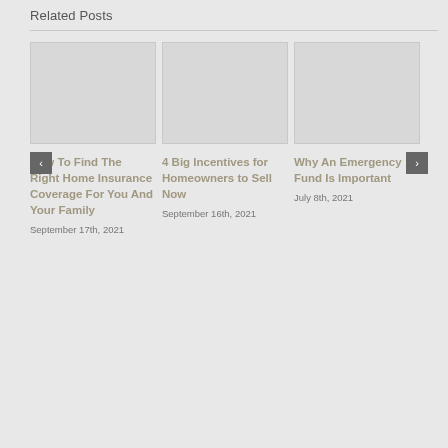Related Posts
[Figure (photo): Blank/placeholder image for first related post]
[Figure (photo): Blank/placeholder image for second related post]
[Figure (photo): Blank/placeholder image for third related post]
How To Find The Right Home Insurance Coverage For You And Your Family
September 17th, 2021
4 Big Incentives for Homeowners to Sell Now
September 16th, 2021
Why An Emergency Fund Is Important
July 8th, 2021